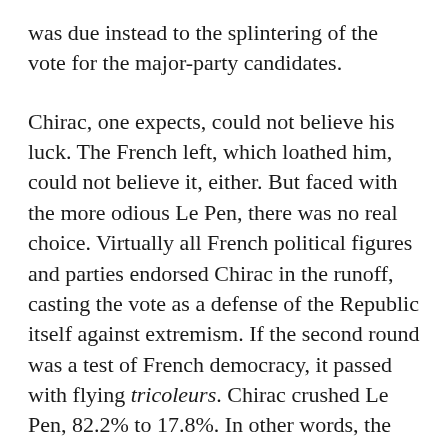was due instead to the splintering of the vote for the major-party candidates.
Chirac, one expects, could not believe his luck. The French left, which loathed him, could not believe it, either. But faced with the more odious Le Pen, there was no real choice. Virtually all French political figures and parties endorsed Chirac in the runoff, casting the vote as a defense of the Republic itself against extremism. If the second round was a test of French democracy, it passed with flying tricoleurs. Chirac crushed Le Pen, 82.2% to 17.8%. In other words, the lackluster incumbent attracted virtually all the votes that had gone to candidates other than Le Pen in the first round—demonstrating a remarkable